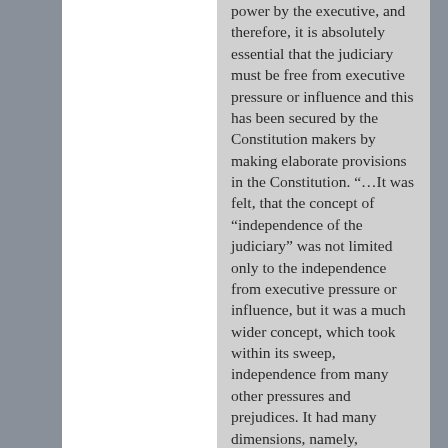power by the executive, and therefore, it is absolutely essential that the judiciary must be free from executive pressure or influence and this has been secured by the Constitution makers by making elaborate provisions in the Constitution. “…It was felt, that the concept of “independence of the judiciary” was not limited only to the independence from executive pressure or influence, but it was a much wider concept, which took within its sweep, independence from many other pressures and prejudices. It had many dimensions, namely, fearlessness of other power centers, economic or